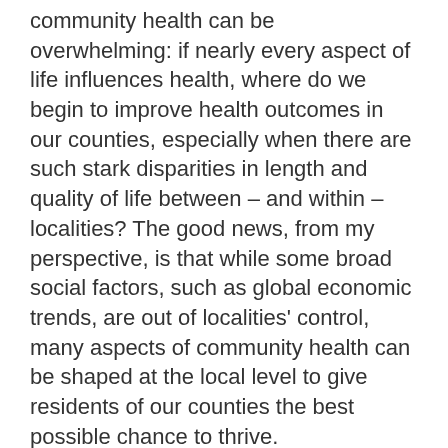community health can be overwhelming: if nearly every aspect of life influences health, where do we begin to improve health outcomes in our counties, especially when there are such stark disparities in length and quality of life between – and within – localities? The good news, from my perspective, is that while some broad social factors, such as global economic trends, are out of localities' control, many aspects of community health can be shaped at the local level to give residents of our counties the best possible chance to thrive.
Virginia counties are rising to this challenge. In highlighting case studies of successful programs each month, I was continually encouraged to see